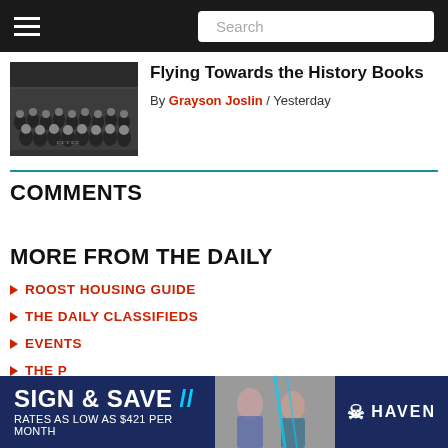Search
[Figure (photo): Black and white photo of a football team posing in rows outdoors]
Flying Towards the History Books
By Grayson Joslin / Yesterday
COMMENTS
MORE FROM THE DAILY
ROOST HOUSING GUIDE
THE DAILY CLASSIFIEDS
EVENTS
THE P...
[Figure (advertisement): Haven apartment ad: SIGN & SAVE // RATES AS LOW AS $421 PER MONTH with photo of women and HAVEN logo]